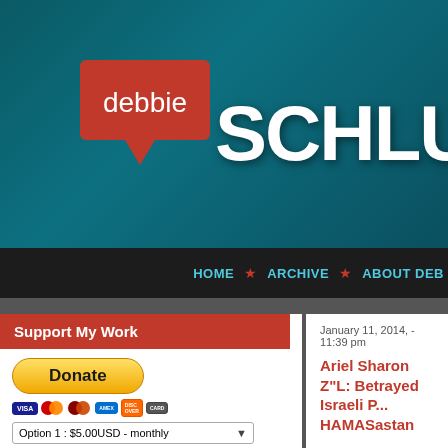[Figure (logo): Debbie Schlussel website logo on teal background — red speech bubble with 'debbie' text and large white 'SCHLUS' text]
HOME ★ ARCHIVE ★ ABOUT DEB
Support My Work
Donate | Option 1 : $5.00USD - monthly | Subscribe
January 11, 2014, - 11:39 pm
Ariel Sharon Z"L: Betrayed Israeli P... HAMASastan